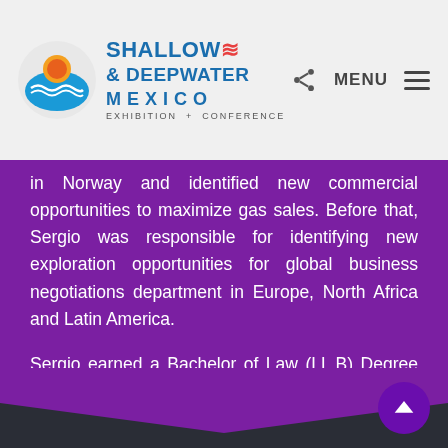Shallow & Deepwater Mexico — Exhibition + Conference
in Norway and identified new commercial opportunities to maximize gas sales. Before that, Sergio was responsible for identifying new exploration opportunities for global business negotiations department in Europe, North Africa and Latin America.
Sergio earned a Bachelor of Law (LL.B) Degree from the “Universidad Católica Andres Bello” in 1995 and Master of Laws (LL.M.) from Temple University School of Law in 1996. Subsequently, in 2010, Sergio also earned an MBA from Texas A&M Mays Business School.